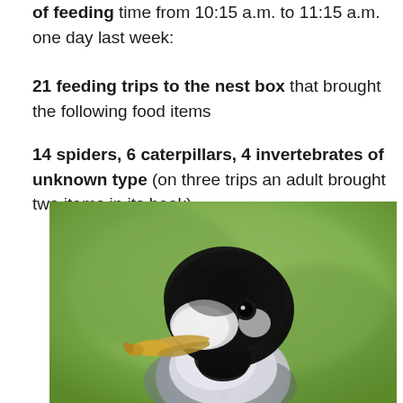of feeding time from 10:15 a.m. to 11:15 a.m. one day last week:
21 feeding trips to the nest box that brought the following food items
14 spiders, 6 caterpillars, 4 invertebrates of unknown type (on three trips an adult brought two items in its beak)
[Figure (photo): Close-up photo of a black-capped chickadee bird holding a caterpillar or grub in its beak, with a blurred green background.]